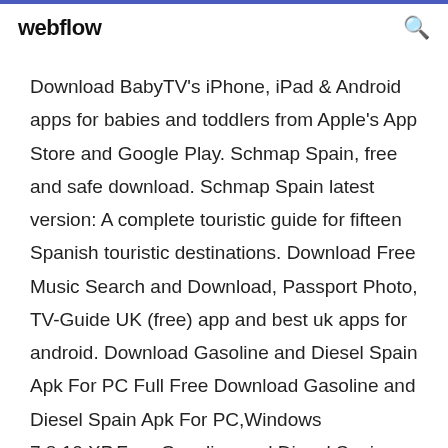webflow
Download BabyTV's iPhone, iPad & Android apps for babies and toddlers from Apple's App Store and Google Play. Schmap Spain, free and safe download. Schmap Spain latest version: A complete touristic guide for fifteen Spanish touristic destinations. Download Free Music Search and Download, Passport Photo, TV-Guide UK (free) app and best uk apps for android. Download Gasoline and Diesel Spain Apk For PC Full Free Download Gasoline and Diesel Spain Apk For PC,Windows 7,8,10,XP.Free Gasoline and Diesel Spain Apk Free Download For Windows PC.. Download iflix for PC/Laptop/Windows 7,8,10 Our site helps you to install any apps/games available on Google Play